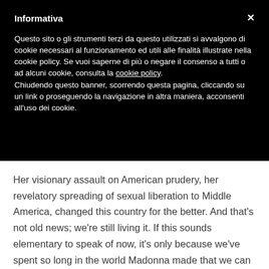Informativa
Questo sito o gli strumenti terzi da questo utilizzati si avvalgono di cookie necessari al funzionamento ed utili alle finalità illustrate nella cookie policy. Se vuoi saperne di più o negare il consenso a tutti o ad alcuni cookie, consulta la cookie policy. Chiudendo questo banner, scorrendo questa pagina, cliccando su un link o proseguendo la navigazione in altra maniera, acconsenti all'uso dei cookie.
Her visionary assault on American prudery, her revelatory spreading of sexual liberation to Middle America, changed this country for the better. And that's not old news; we're still living it. If this sounds elementary to speak of now, it's only because we've spent so long in the world Madonna made that we can hardly imagine it